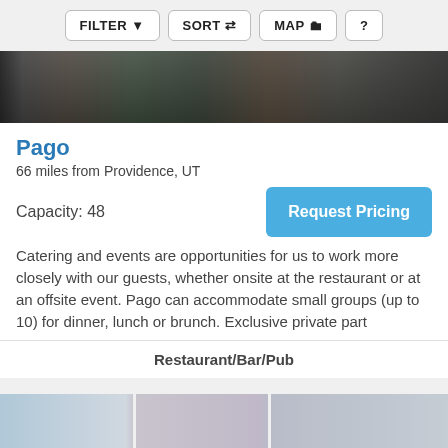FILTER  SORT  MAP  ?
[Figure (photo): Strip of venue photos showing people at a dining event with long tables set with glassware, outdoor and indoor settings]
Pago
66 miles from Providence, UT
Capacity: 48
Catering and events are opportunities for us to work more closely with our guests, whether onsite at the restaurant or at an offsite event. Pago can accommodate small groups (up to 10) for dinner, lunch or brunch. Exclusive private part
Restaurant/Bar/Pub
[Figure (photo): Bottom strip of venue photos showing an indoor event space with large windows, people mingling at what appears to be a reception or party]